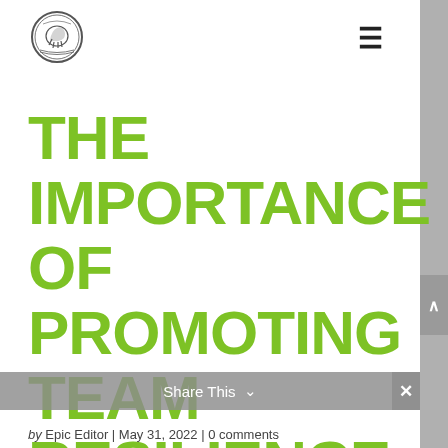[Figure (logo): Circular organization logo with animal/crest illustration in black and white]
THE IMPORTANCE OF PROMOTING TEAM RESILIENCE
Share This ∨
by Epic Editor | May 31, 2022 | 0 comments